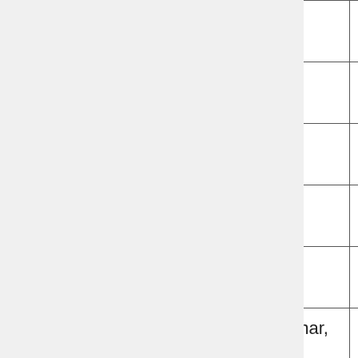| Time | Name | Room |
| --- | --- | --- |
| 1:30 | Garcia Robledo | PBB 400A |
| 1:30-2:00 |  |  |
| 2:00-2:30 | Chris Elphick | TLS 372/4 |
| 2:30-3:00 | Annette Evans | PharmBio 322 |
| 3:00-3:30 |  |  |
| 3:30- | *Departmental Seminar, Barbara Thiers (NY Botanical Garden): | BioPhysics |